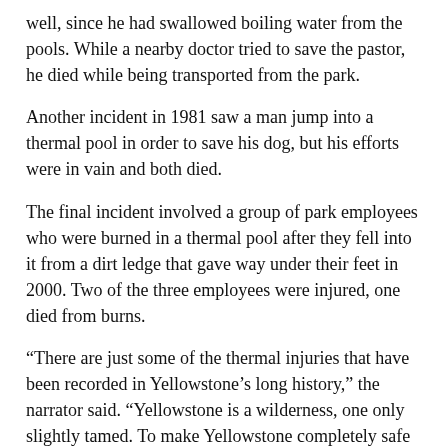well, since he had swallowed boiling water from the pools. While a nearby doctor tried to save the pastor, he died while being transported from the park.
Another incident in 1981 saw a man jump into a thermal pool in order to save his dog, but his efforts were in vain and both died.
The final incident involved a group of park employees who were burned in a thermal pool after they fell into it from a dirt ledge that gave way under their feet in 2000. Two of the three employees were injured, one died from burns.
“There are just some of the thermal injuries that have been recorded in Yellowstone’s long history,” the narrator said. “Yellowstone is a wilderness, one only slightly tamed. To make Yellowstone completely safe would be to make it no longer wild.”
***For All Things Wyoming, Sign-Up For Our Daily Newsletter***